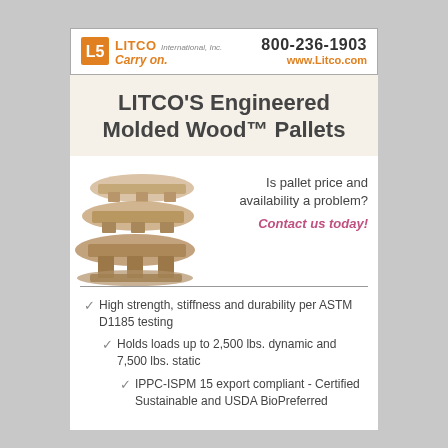[Figure (logo): LITCO International, Inc. logo with orange icon and Carry on. tagline, plus phone 800-236-1903 and website www.Litco.com]
LITCO'S Engineered Molded Wood™ Pallets
[Figure (photo): Stack of engineered molded wood pallets shown from the side, with text overlay asking 'Is pallet price and availability a problem? Contact us today!']
High strength, stiffness and durability per ASTM D1185 testing
Holds loads up to 2,500 lbs. dynamic and 7,500 lbs. static
IPPC-ISPM 15 export compliant - Certified Sustainable and USDA BioPreferred